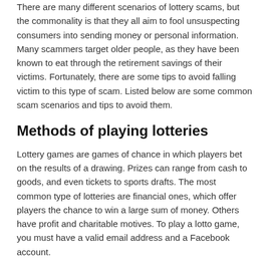There are many different scenarios of lottery scams, but the commonality is that they all aim to fool unsuspecting consumers into sending money or personal information. Many scammers target older people, as they have been known to eat through the retirement savings of their victims. Fortunately, there are some tips to avoid falling victim to this type of scam. Listed below are some common scam scenarios and tips to avoid them.
Methods of playing lotteries
Lottery games are games of chance in which players bet on the results of a drawing. Prizes can range from cash to goods, and even tickets to sports drafts. The most common type of lotteries are financial ones, which offer players the chance to win a large sum of money. Others have profit and charitable motives. To play a lotto game, you must have a valid email address and a Facebook account.